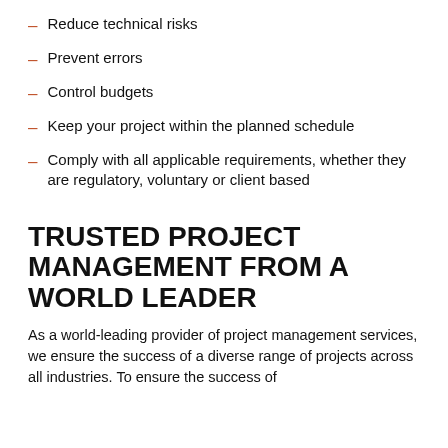Reduce technical risks
Prevent errors
Control budgets
Keep your project within the planned schedule
Comply with all applicable requirements, whether they are regulatory, voluntary or client based
TRUSTED PROJECT MANAGEMENT FROM A WORLD LEADER
As a world-leading provider of project management services, we ensure the success of a diverse range of projects across all industries. To ensure the success of